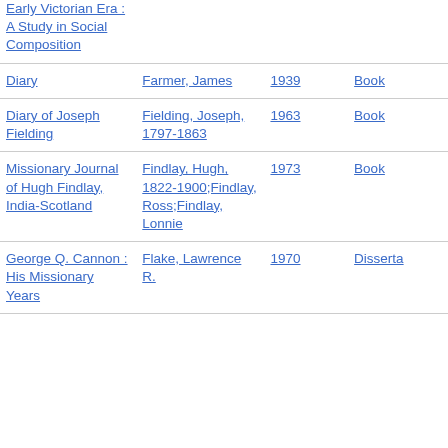| Title | Author | Year | Type |
| --- | --- | --- | --- |
| Early Victorian Era : A Study in Social Composition |  |  |  |
| Diary | Farmer, James | 1939 | Book |
| Diary of Joseph Fielding | Fielding, Joseph, 1797-1863 | 1963 | Book |
| Missionary Journal of Hugh Findlay, India-Scotland | Findlay, Hugh, 1822-1900;Findlay, Ross;Findlay, Lonnie | 1973 | Book |
| George Q. Cannon : His Missionary Years | Flake, Lawrence R. | 1970 | Dissertation |